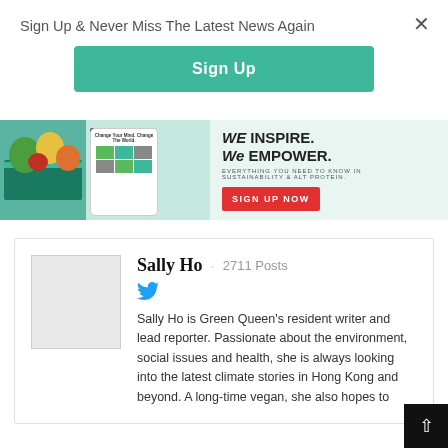Sign Up & Never Miss The Latest News Again
Sign Up
[Figure (screenshot): Green Queen media banner ad with logo, phone mockup with food images, and text reading 'WE INSPIRE. We EMPOWER. EVERYTHING YOU NEED TO KNOW IN SUSTAINABILITY & ALT PROTEIN.' with a red SIGN UP NOW button]
[Figure (photo): Author profile photo placeholder (grey box)]
Sally Ho · 2711 Posts
[Figure (logo): Twitter bird icon]
Sally Ho is Green Queen's resident writer and lead reporter. Passionate about the environment, social issues and health, she is always looking into the latest climate stories in Hong Kong and beyond. A long-time vegan, she also hopes to